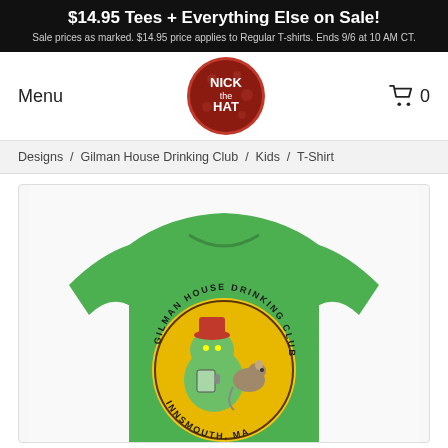$14.95 Tees + Everything Else on Sale! Sale prices as marked. $14.95 price applies to Regular T-shirts. Ends 9/6 at 10 AM CT.
[Figure (logo): Nick the Hat logo - red circular badge with text NICK the HAT]
Menu
0
Designs / Gilman House Drinking Club / Kids / T-Shirt
[Figure (photo): Green kids t-shirt with Gilman House Drinking Club Innsmouth MA circular graphic featuring a monster drinking at a bar]